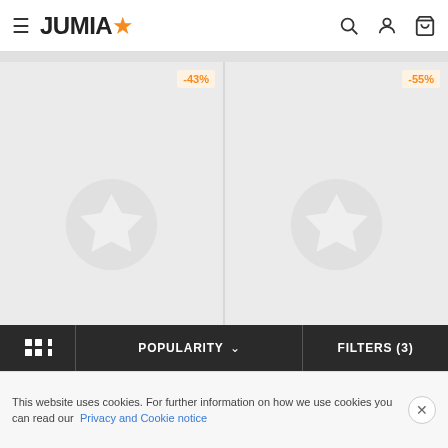JUMIA
[Figure (screenshot): Product card for Dangle Hanging Rhinestone Drop Earrings with -43% discount badge and Jumia placeholder star icon]
Dangle Hanging Rhinestone Drop Earrings
UGX 10,280  UGX 18,076
[Figure (screenshot): Product card for T7 Bluetooth Wireless headphones with a Strong Battery - Black, grey... with -55% discount badge and Jumia placeholder star icon]
T7 Bluetooth Wireless headphones with a Strong Battery - Black, grey...
UGX 40,300  UGX 90,000
POPULARITY  FILTERS (3)
This website uses cookies. For further information on how we use cookies you can read our Privacy and Cookie notice